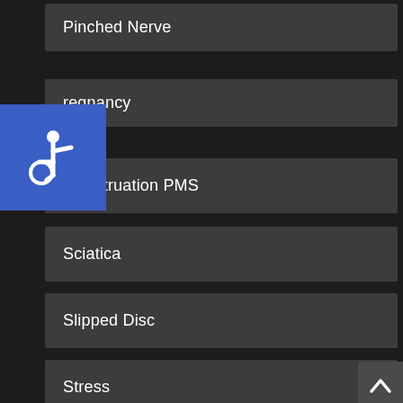Pinched Nerve
Pregnancy
Menstruation PMS
Sciatica
Slipped Disc
Stress
Wellness
Whiplash